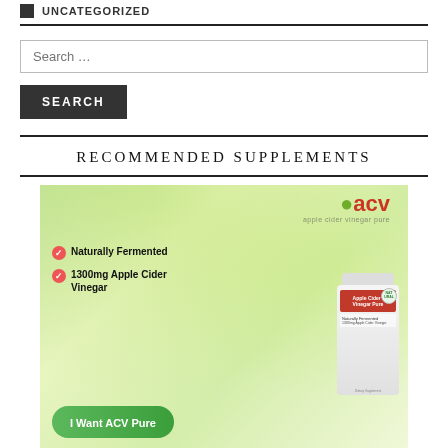UNCATEGORIZED
Search …
SEARCH
RECOMMENDED SUPPLEMENTS
[Figure (advertisement): Apple Cider Vinegar Pure (ACV) supplement advertisement banner showing a product bottle, green apple logo, bullet points: Naturally Fermented, 1300mg Apple Cider Vinegar, and a green CTA button 'I Want ACV Pure']